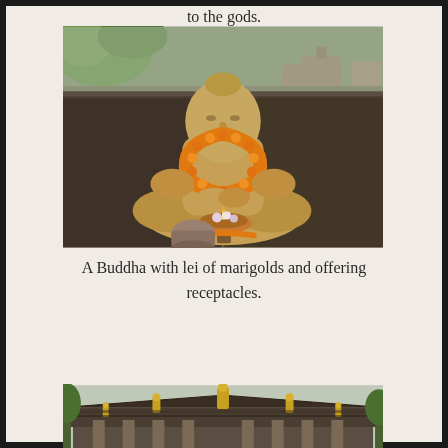to the gods.
[Figure (photo): A golden Buddha statue in meditation pose wearing an orange marigold lei, with offering receptacles in front, set against a dark stone wall backdrop with trees and temple structures visible in background.]
A Buddha with lei of marigolds and offering receptacles.
[Figure (photo): A traditional temple building with a dark tiled roof decorated with golden finials/spires, viewed from the front.]